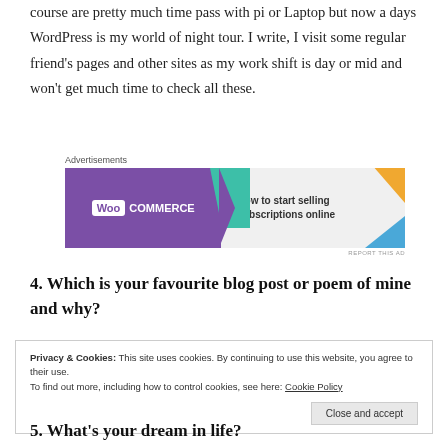course are pretty much time pass with pi or Laptop but now a days WordPress is my world of night tour. I write, I visit some regular friend's pages and other sites as my work shift is day or mid and won't get much time to check all these.
[Figure (screenshot): WooCommerce advertisement banner: 'How to start selling subscriptions online']
4. Which is your favourite blog post or poem of mine and why?
Privacy & Cookies: This site uses cookies. By continuing to use this website, you agree to their use.
To find out more, including how to control cookies, see here: Cookie Policy
Close and accept
5. What's your dream in life?